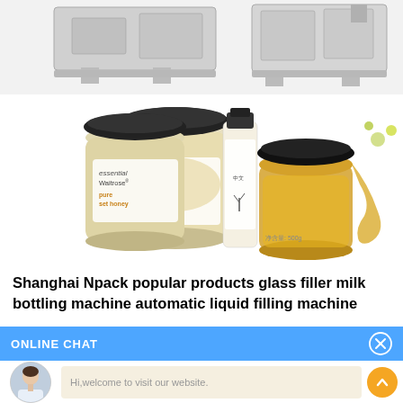[Figure (photo): Top portion showing industrial filling/bottling machinery equipment in gray/silver tones on white background]
[Figure (photo): Product photos: left side shows two Essential Waitrose pure set honey jars with white/gold labels; right side shows Chinese honey product in a tall bottle and a glass jar with honey dipper and flowers]
Shanghai Npack popular products glass filler milk bottling machine automatic liquid filling machine
ONLINE CHAT
[Figure (illustration): Chat widget showing avatar photo of woman named Cilina, a message bubble saying Hi,welcome to visit our website., a close button (X circle) in the chat bar, and an orange scroll-to-top button with upward chevron]